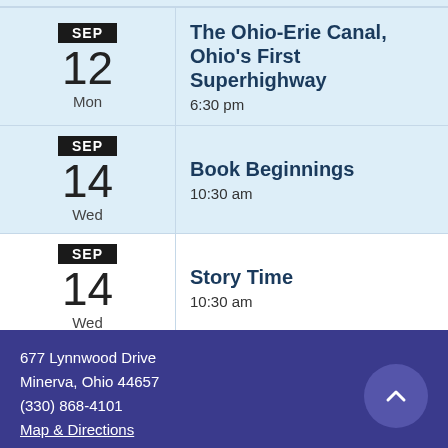SEP 12 Mon — The Ohio-Erie Canal, Ohio's First Superhighway — 6:30 pm
SEP 14 Wed — Book Beginnings — 10:30 am
SEP 14 Wed — Story Time — 10:30 am
See full calendar ▶
677 Lynnwood Drive
Minerva, Ohio 44657
(330) 868-4101
Map & Directions